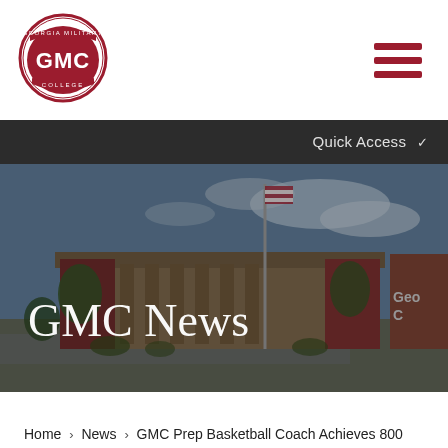[Figure (logo): Georgia Military College (GMC) logo — oval red border with text and shield emblem]
Quick Access
[Figure (photo): Photo of Georgia Military College campus building exterior with flag pole and trees under partly cloudy sky, with 'GMC News' title overlay]
GMC News
Home > News > GMC Prep Basketball Coach Achieves 800 Career Wins